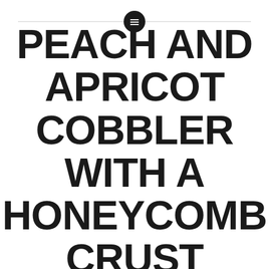[icon: menu/list icon in black circle with horizontal line]
PEACH AND APRICOT COBBLER WITH A HONEYCOMB CRUST